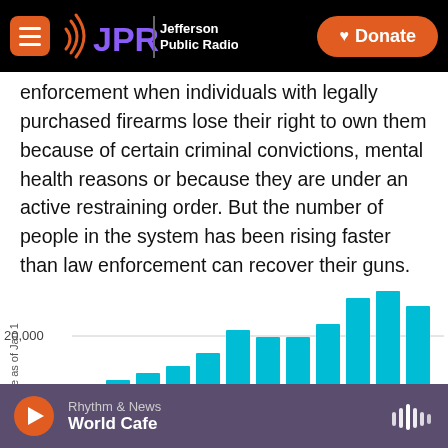JPR Jefferson Public Radio | Donate
enforcement when individuals with legally purchased firearms lose their right to own them because of certain criminal convictions, mental health reasons or because they are under an active restraining order. But the number of people in the system has been rising faster than law enforcement can recover their guns.
[Figure (bar-chart): People as of Jan 1]
Rhythm & News
World Cafe